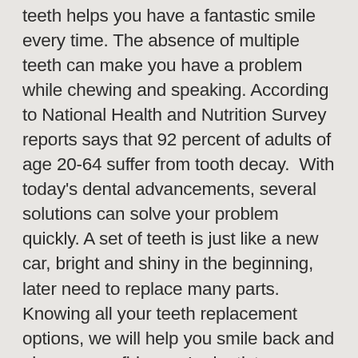teeth helps you have a fantastic smile every time. The absence of multiple teeth can make you have a problem while chewing and speaking. According to National Health and Nutrition Survey reports says that 92 percent of adults of age 20-64 suffer from tooth decay.  With today's dental advancements, several solutions can solve your problem quickly. A set of teeth is just like a new car, bright and shiny in the beginning, later need to replace many parts. Knowing all your teeth replacement options, we will help you smile back and give you confidence. In dentistry, we assure our patients have good teeth that allow eating, smiling, and talking. But for many individuals, this becomes a big challenge. They may require a good tooth replacement treatment. Well, consulting a good orthodontist can be the best solution. Your doctor is your best friend, and he will suggest the best treatment for you. If the majority of your teeth need